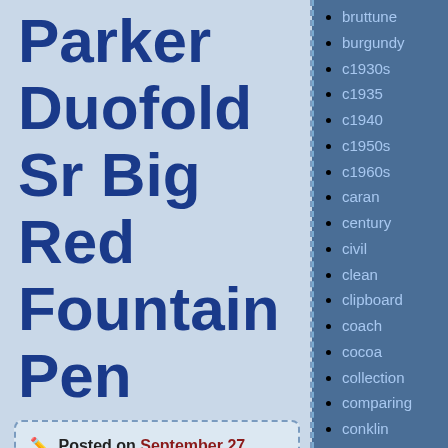Parker Duofold Sr Big Red Fountain Pen
Posted on September 27, 2018 | By admin
Up for your consideration is a vintage Parker Duofold Sr Bi...
bruttune
burgundy
c1930s
c1935
c1940
c1950s
c1960s
caran
century
civil
clean
clipboard
coach
cocoa
collection
comparing
conklin
conway